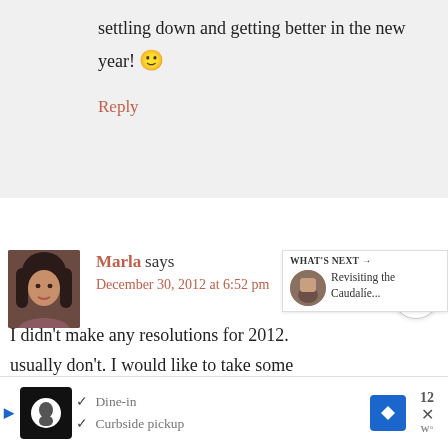settling down and getting better in the new year! 🙂
Reply
Marla says
December 30, 2012 at 6:52 pm
I didn't make any resolutions for 2012. I usually don't. I would like to take some
WHAT'S NEXT → Revisiting the Caudalíe...
✓ Dine-in  ✓ Curbside pickup